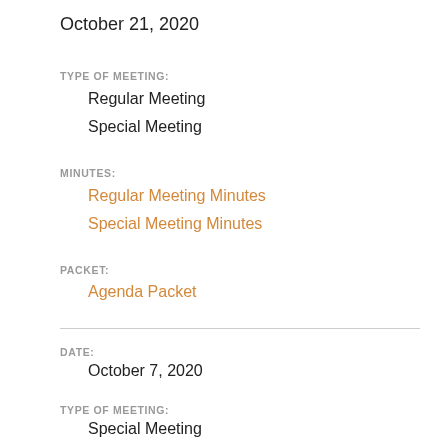October 21, 2020
TYPE OF MEETING:
Regular Meeting
Special Meeting
MINUTES:
Regular Meeting Minutes
Special Meeting Minutes
PACKET:
Agenda Packet
DATE:
October 7, 2020
TYPE OF MEETING:
Special Meeting
MINUTES: